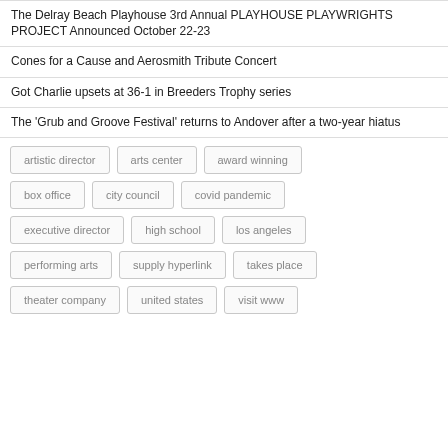The Delray Beach Playhouse 3rd Annual PLAYHOUSE PLAYWRIGHTS PROJECT Announced October 22-23
Cones for a Cause and Aerosmith Tribute Concert
Got Charlie upsets at 36-1 in Breeders Trophy series
The 'Grub and Groove Festival' returns to Andover after a two-year hiatus
artistic director | arts center | award winning | box office | city council | covid pandemic | executive director | high school | los angeles | performing arts | supply hyperlink | takes place | theater company | united states | visit www